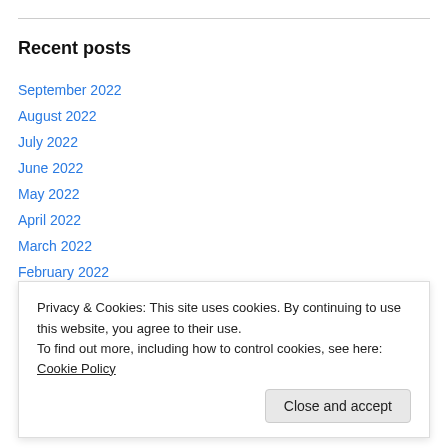Recent posts
September 2022
August 2022
July 2022
June 2022
May 2022
April 2022
March 2022
February 2022
January 2022
Privacy & Cookies: This site uses cookies. By continuing to use this website, you agree to their use. To find out more, including how to control cookies, see here: Cookie Policy
Close and accept
June 2021